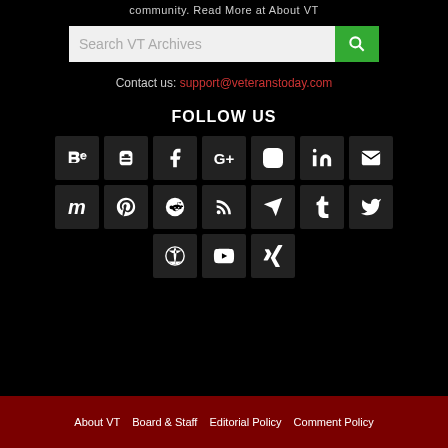community. Read More at About VT
[Figure (screenshot): Search VT Archives input bar with green search button]
Contact us: support@veteranstoday.com
FOLLOW US
[Figure (infographic): Social media icon grid: Row 1: Behance, Blogger, Facebook, Google+, Instagram, LinkedIn, Email. Row 2: Mix, Pinterest, Reddit, RSS, Telegram, Tumblr, Twitter. Row 3: WordPress, YouTube, XING]
About VT   Board & Staff   Editorial Policy   Comment Policy